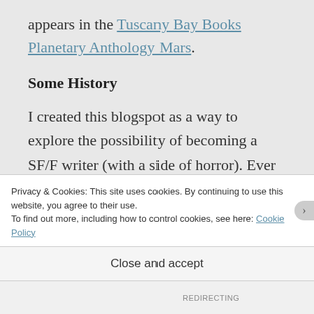appears in the Tuscany Bay Books Planetary Anthology Mars.
Some History
I created this blogspot as a way to explore the possibility of becoming a SF/F writer (with a side of horror). Ever since I was in high school many decades ago, I've wanted to write fiction, but
Privacy & Cookies: This site uses cookies. By continuing to use this website, you agree to their use.
To find out more, including how to control cookies, see here: Cookie Policy
Close and accept